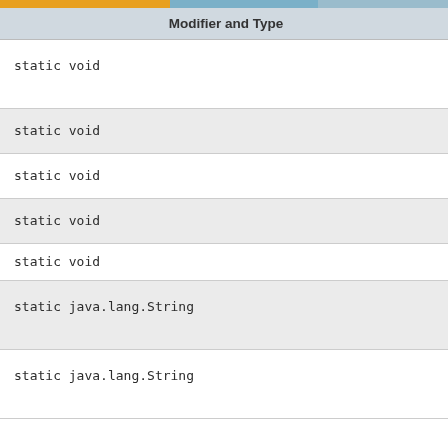| Modifier and Type |
| --- |
| static void |
| static void |
| static void |
| static void |
| static void |
| static java.lang.String |
| static java.lang.String |